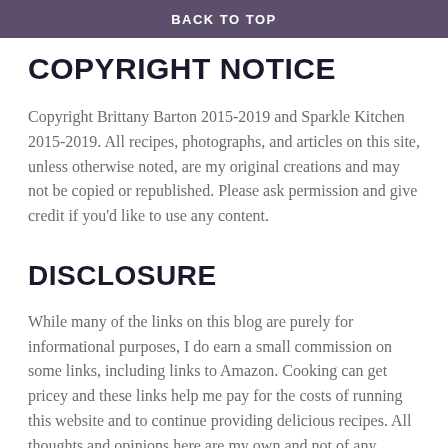BACK TO TOP
COPYRIGHT NOTICE
Copyright Brittany Barton 2015-2019 and Sparkle Kitchen 2015-2019. All recipes, photographs, and articles on this site, unless otherwise noted, are my original creations and may not be copied or republished. Please ask permission and give credit if you'd like to use any content.
DISCLOSURE
While many of the links on this blog are purely for informational purposes, I do earn a small commission on some links, including links to Amazon. Cooking can get pricey and these links help me pay for the costs of running this website and to continue providing delicious recipes. All thoughts and opinions here are my own and not of any